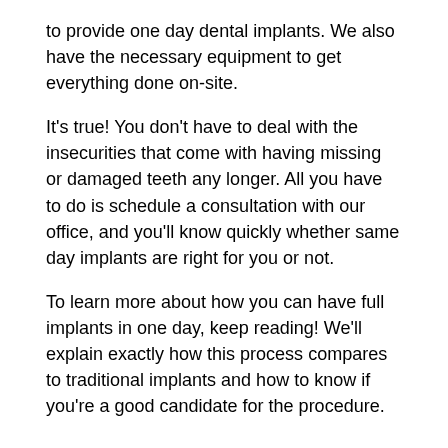to provide one day dental implants. We also have the necessary equipment to get everything done on-site.
It's true! You don't have to deal with the insecurities that come with having missing or damaged teeth any longer. All you have to do is schedule a consultation with our office, and you'll know quickly whether same day implants are right for you or not.
To learn more about how you can have full implants in one day, keep reading! We'll explain exactly how this process compares to traditional implants and how to know if you're a good candidate for the procedure.
The Science Behind Denture Implants in One Day